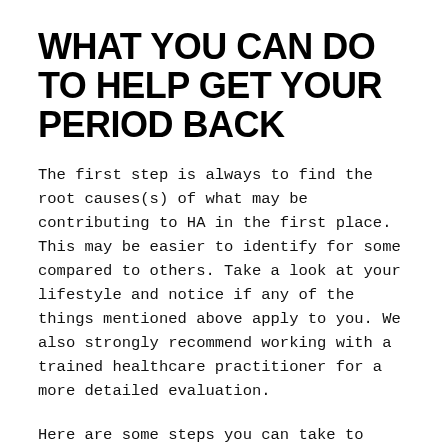WHAT YOU CAN DO TO HELP GET YOUR PERIOD BACK
The first step is always to find the root causes(s) of what may be contributing to HA in the first place. This may be easier to identify for some compared to others. Take a look at your lifestyle and notice if any of the things mentioned above apply to you. We also strongly recommend working with a trained healthcare practitioner for a more detailed evaluation.
Here are some steps you can take to help